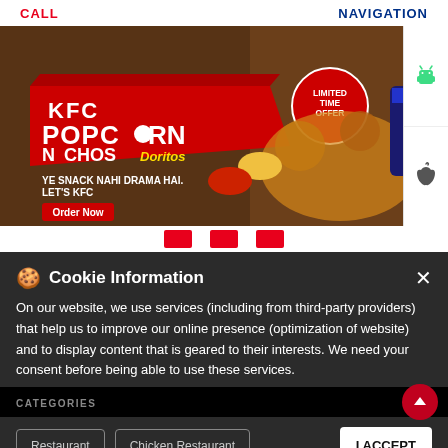CALL | NAVIGATION
[Figure (photo): KFC Popcorn Nachos Doritos advertisement banner. Shows KFC branded fried chicken pieces on nachos with dipping sauces, a Pepsi cola drink, red KFC branding with text: KFC POPCORN, NACHOS Doritos, LIMITED TIME OFFER, YE SNACK NAHI DRAMA HAI. LET'S KFC, Order Now button.]
[Figure (other): Android and Apple app download buttons on the right side panel]
Cookie Information
On our website, we use services (including from third-party providers) that help us to improve our online presence (optimization of website) and to display content that is geared to their interests. We need your consent before being able to use these services.
CATEGORIES
Restaurant | Chicken Restaurant | I ACCEPT